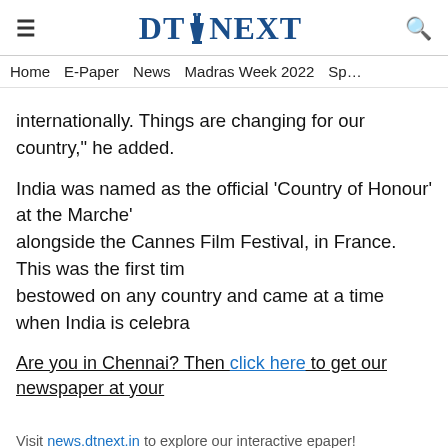DT NEXT
Home   E-Paper   News   Madras Week 2022   Spo
internationally. Things are changing for our country," he added.
India was named as the official ‘Country of Honour’ at the Marche’ alongside the Cannes Film Festival, in France. This was the first time bestowed on any country and came at a time when India is celebra
Are you in Chennai? Then click here to get our newspaper at your
Visit news.dtnext.in to explore our interactive epaper!
Download the DT Next app for more exciting features!
Click here for iOS
Click here for Android